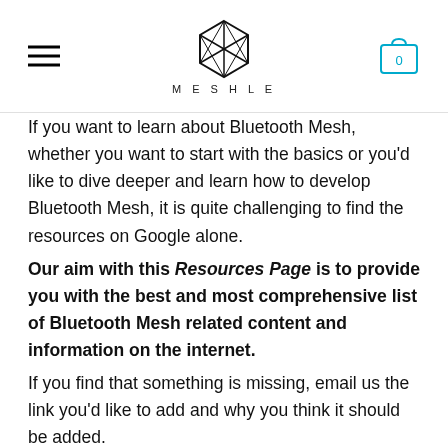MESHLE
If you want to learn about Bluetooth Mesh, whether you want to start with the basics or you’d like to dive deeper and learn how to develop Bluetooth Mesh, it is quite challenging to find the resources on Google alone.
Our aim with this Resources Page is to provide you with the best and most comprehensive list of Bluetooth Mesh related content and information on the internet.
If you find that something is missing, email us the link you’d like to add and why you think it should be added.
A List of the Best Bluetooth